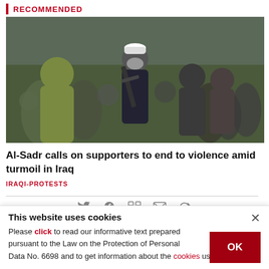RECOMMENDED
[Figure (photo): A crowd scene showing a masked armed man holding a rifle in the center, surrounded by a large group of people outdoors.]
Al-Sadr calls on supporters to end to violence amid turmoil in Iraq
IRAQI-PROTESTS
This website uses cookies
Please click to read our informative text prepared pursuant to the Law on the Protection of Personal Data No. 6698 and to get information about the cookies used on our